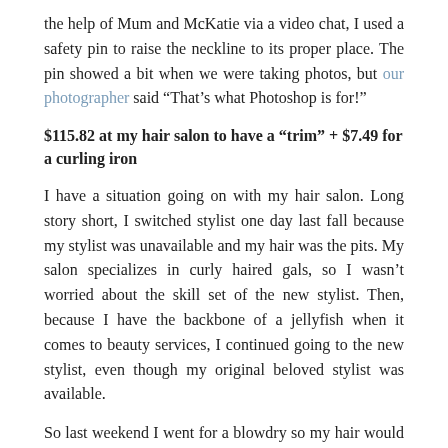the help of Mum and McKatie via a video chat, I used a safety pin to raise the neckline to its proper place. The pin showed a bit when we were taking photos, but our photographer said “That’s what Photoshop is for!”
$115.82 at my hair salon to have a “trim” + $7.49 for a curling iron
I have a situation going on with my hair salon. Long story short, I switched stylist one day last fall because my stylist was unavailable and my hair was the pits. My salon specializes in curly haired gals, so I wasn’t worried about the skill set of the new stylist. Then, because I have the backbone of a jellyfish when it comes to beauty services, I continued going to the new stylist, even though my original beloved stylist was available.
So last weekend I went for a blowdry so my hair would look nice for our engagement photos. Usually they make my curls look fantastic. The day after, I just rejuvenate them with some product, like I did for Chad and Ashley’s wedding:
[Figure (photo): Partial photo of a person at what appears to be an outdoor or windowed setting, showing lower portion of image]